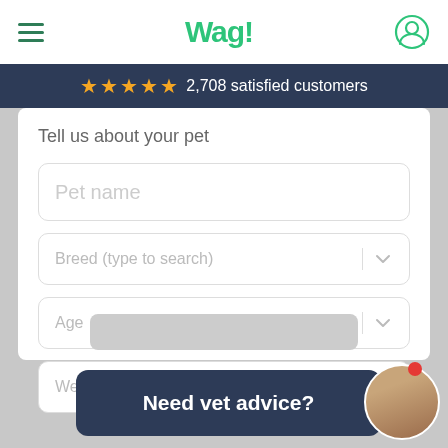Wag!
2,708 satisfied customers
Tell us about your pet
Pet name
Breed (type to search)
Age
Weight
Need vet advice?